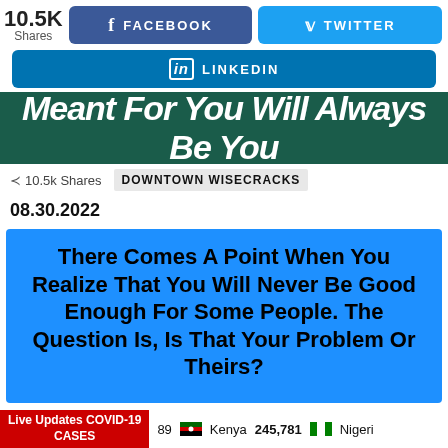[Figure (screenshot): Social share buttons: Facebook and Twitter side by side with 10.5K shares count]
[Figure (screenshot): LinkedIn share button]
[Figure (screenshot): Dark teal hero banner with italic white text: Meant For You Will Always Be You]
10.5k Shares   DOWNTOWN WISECRACKS
08.30.2022
[Figure (infographic): Blue box with bold black text: There Comes A Point When You Realize That You Will Never Be Good Enough For Some People. The Question Is, Is That Your Problem Or Theirs?]
Live Updates COVID-19 CASES   ...89   Kenya 245,781   Nigeria...